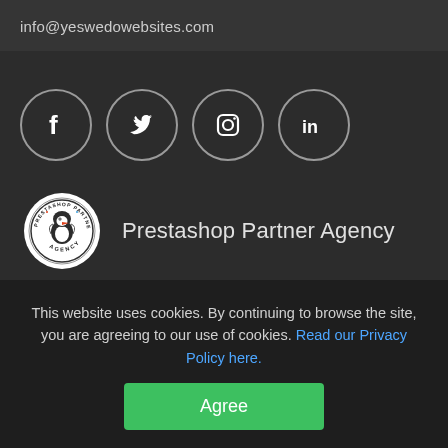info@yeswedowebsites.com
[Figure (illustration): Four social media icons in circular outlines: Facebook (f), Twitter (bird), Instagram (camera), LinkedIn (in)]
[Figure (logo): Prestashop Partner Agency circular logo badge with a puffin bird mascot]
Prestashop Partner Agency
This website uses cookies. By continuing to browse the site, you are agreeing to our use of cookies. Read our Privacy Policy here.
Agree